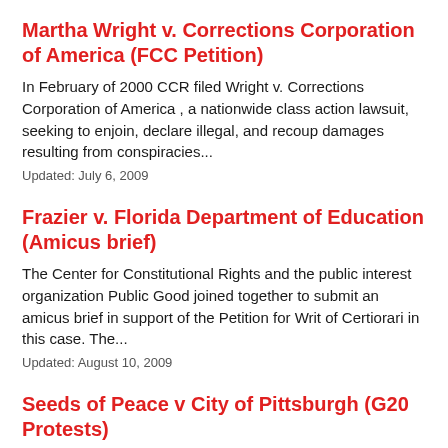Martha Wright v. Corrections Corporation of America (FCC Petition)
In February of 2000 CCR filed Wright v. Corrections Corporation of America , a nationwide class action lawsuit, seeking to enjoin, declare illegal, and recoup damages resulting from conspiracies...
Updated: July 6, 2009
Frazier v. Florida Department of Education (Amicus brief)
The Center for Constitutional Rights and the public interest organization Public Good joined together to submit an amicus brief in support of the Petition for Writ of Certiorari in this case. The...
Updated: August 10, 2009
Seeds of Peace v City of Pittsburgh (G20 Protests)